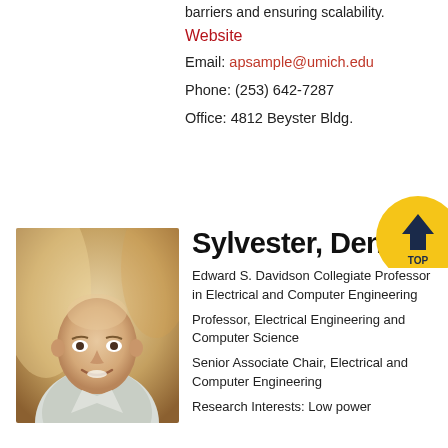barriers and ensuring scalability.
Website
Email: apsample@umich.edu
Phone: (253) 642-7287
Office: 4812 Beyster Bldg.
[Figure (photo): Headshot of Dennis Sylvester, a bald middle-aged man smiling, wearing a light-colored shirt, with a blurred indoor background.]
Sylvester, Dennis
Edward S. Davidson Collegiate Professor in Electrical and Computer Engineering
Professor, Electrical Engineering and Computer Science
Senior Associate Chair, Electrical and Computer Engineering
Research Interests: Low power